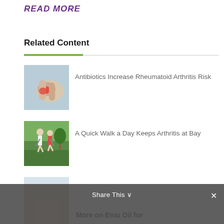READ MORE
Related Content
Antibiotics Increase Rheumatoid Arthritis Risk
[Figure (photo): Close-up of an inflamed red joint on a hand]
A Quick Walk a Day Keeps Arthritis at Bay
[Figure (photo): Two elderly people walking with trekking poles in a park]
Men and Low Bone Mass
[Figure (photo): Man jogging on a bridge]
More on Emu Oil for
[Figure (photo): Partial thumbnail image at bottom]
Share This